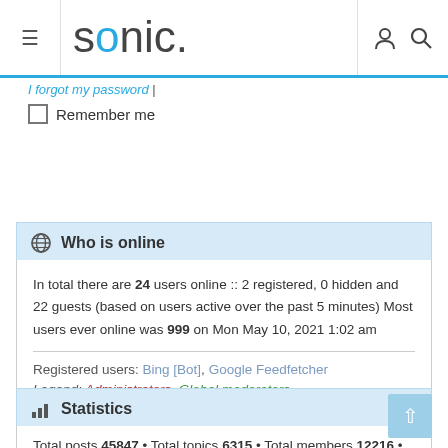sonic. [navigation bar with menu, logo, user and search icons]
I forgot my password |
☐ Remember me
🌐 Who is online
In total there are 24 users online :: 2 registered, 0 hidden and 22 guests (based on users active over the past 5 minutes) Most users ever online was 999 on Mon May 10, 2021 1:02 am
Registered users: Bing [Bot], Google Feedfetcher
Legend: Administrators, Global moderators
📊 Statistics
Total posts 45847 • Total topics 6315 • Total members 12216 •